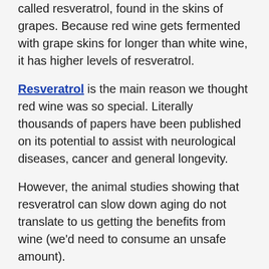called resveratrol, found in the skins of grapes. Because red wine gets fermented with grape skins for longer than white wine, it has higher levels of resveratrol.
Resveratrol is the main reason we thought red wine was so special. Literally thousands of papers have been published on its potential to assist with neurological diseases, cancer and general longevity.
However, the animal studies showing that resveratrol can slow down aging do not translate to us getting the benefits from wine (we'd need to consume an unsafe amount).